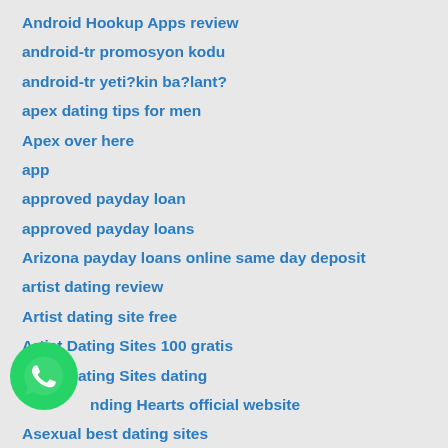Android Hookup Apps review
android-tr promosyon kodu
android-tr yeti?kin ba?lant?
apex dating tips for men
Apex over here
app
approved payday loan
approved payday loans
Arizona payday loans online same day deposit
artist dating review
Artist dating site free
Artist Dating Sites 100 gratis
Artist Dating Sites dating
nding Hearts official website
Asexual best dating sites
[Figure (logo): WhatsApp logo icon — green circle with white phone handset]